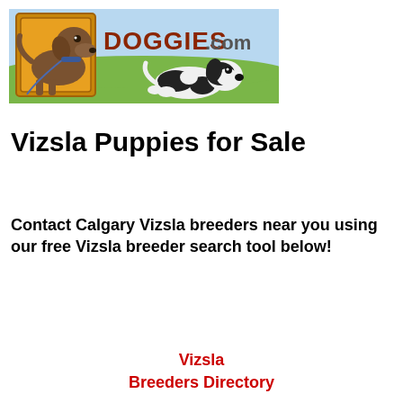[Figure (logo): Doggies.com banner logo with a brown Labrador dog in a yellow-bordered frame on the left, a black and white puppy on grass in the center-right, sky blue background, and the text DOGGIES.com in brown and dark red lettering]
Vizsla Puppies for Sale
Contact Calgary Vizsla breeders near you using our free Vizsla breeder search tool below!
Vizsla Breeders Directory